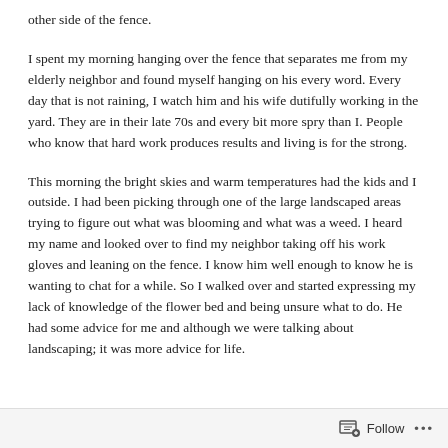other side of the fence.
I spent my morning hanging over the fence that separates me from my elderly neighbor and found myself hanging on his every word. Every day that is not raining, I watch him and his wife dutifully working in the yard. They are in their late 70s and every bit more spry than I. People who know that hard work produces results and living is for the strong.
This morning the bright skies and warm temperatures had the kids and I outside. I had been picking through one of the large landscaped areas trying to figure out what was blooming and what was a weed. I heard my name and looked over to find my neighbor taking off his work gloves and leaning on the fence. I know him well enough to know he is wanting to chat for a while. So I walked over and started expressing my lack of knowledge of the flower bed and being unsure what to do. He had some advice for me and although we were talking about landscaping; it was more advice for life.
Follow ...